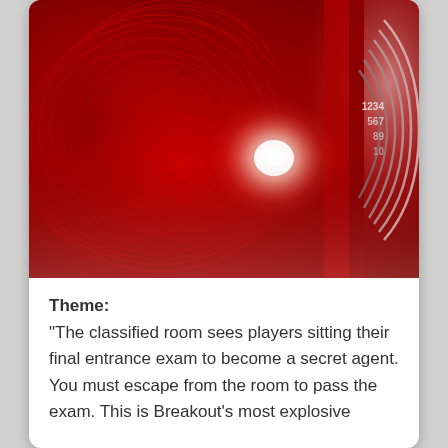[Figure (photo): A red-toned spy/escape room themed image featuring a large fingerprint pattern on the left, a combination lock with numbered dial (1234, 567, 89, 10) on the upper right, and a bright white glare/glow spot in the center-right area. The overall color palette is deep red and crimson.]
Theme:
"The classified room sees players sitting their final entrance exam to become a secret agent. You must escape from the room to pass the exam. This is Breakout's most explosive